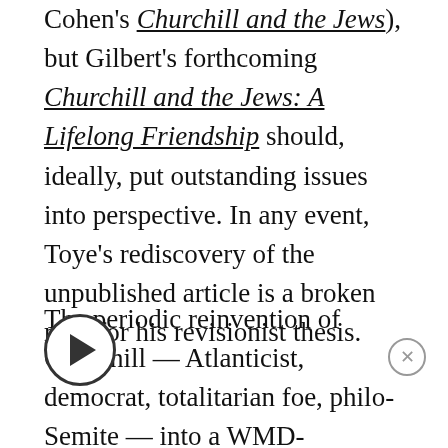Cohen's Churchill and the Jews), but Gilbert's forthcoming Churchill and the Jews: A Lifelong Friendship should, ideally, put outstanding issues into perspective. In any event, Toye's rediscovery of the unpublished article is a broken reed for his revisionist thesis.
The periodic reinvention of Churchill — Atlanticist, democrat, totalitarian foe, philo-Semite — into a WMD-enthusiast, democracy sacrificer, realpolitiker, anti-Semitic dabbler — is sometimes remarkable for its boldness, whether based on a [play button] of documentary fancy, manipulation or reinterpretation. The temptation to undermine (if